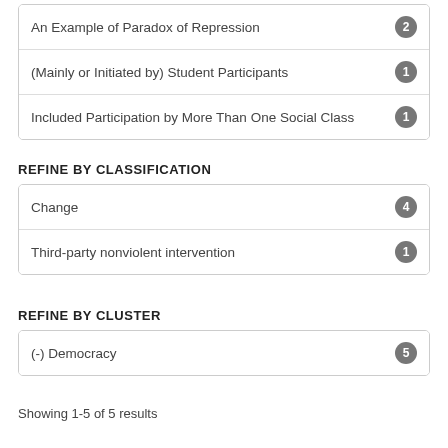An Example of Paradox of Repression 2
(Mainly or Initiated by) Student Participants 1
Included Participation by More Than One Social Class 1
REFINE BY CLASSIFICATION
Change 4
Third-party nonviolent intervention 1
REFINE BY CLUSTER
(-) Democracy 5
Showing 1-5 of 5 results